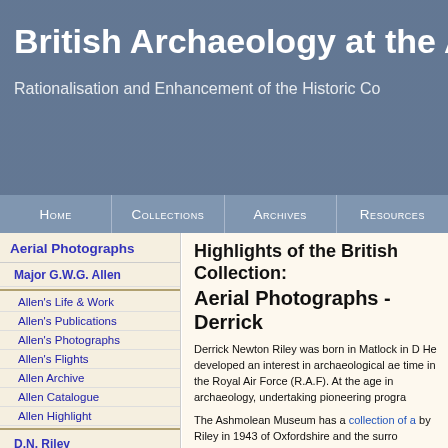British Archaeology at the As... Rationalisation and Enhancement of the Historic Co...
Home | Collections | Archives | Resources
Aerial Photographs
Major G.W.G. Allen
Allen's Life & Work
Allen's Publications
Allen's Photographs
Allen's Flights
Allen Archive
Allen Catalogue
Allen Highlight
D.N. Riley
Riley Catalogue
O.G.S. Crawford
Crawford's Flight Log
Highlights of the British Collection:
Aerial Photographs - Derrick...
Derrick Newton Riley was born in Matlock in D... He developed an interest in archaeological ae... time in the Royal Air Force (R.A.F). At the age... in archaeology, undertaking pioneering progra...
The Ashmolean Museum has a collection of a... by Riley in 1943 of Oxfordshire and the surro...
Derrick Riley joined the R.A.F. on 1 July 1940... 1940 at Marshall's Aerodrome in Cambridge. ... Riley flew in a twin engined Whitley. Then in J... Abingdon in Oxfordshire, taking his first archa... April that year. The photograph was of a ring... by Major George Allen. His interest in aerial...